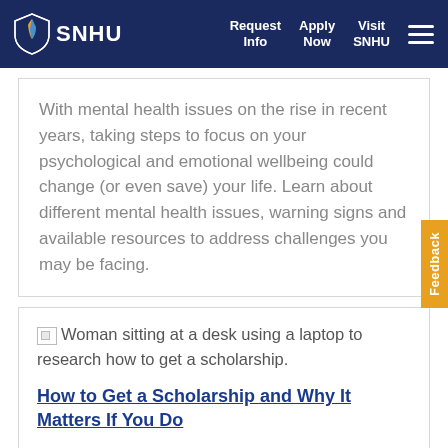SNHU | Request Info | Apply Now | Visit SNHU
With mental health issues on the rise in recent years, taking steps to focus on your psychological and emotional wellbeing could change (or even save) your life. Learn about different mental health issues, warning signs and available resources to address challenges you may be facing.
[Figure (photo): Woman sitting at a desk using a laptop to research how to get a scholarship.]
How to Get a Scholarship and Why It Matters If You Do